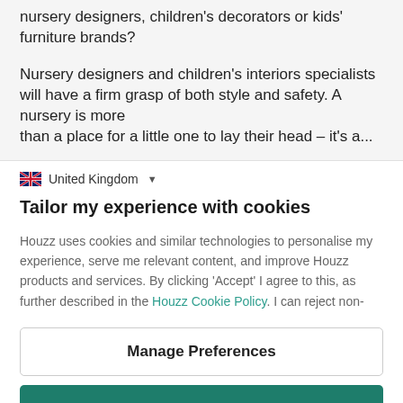nursery designers, children's decorators or kids' furniture brands?
Nursery designers and children's interiors specialists will have a firm grasp of both style and safety. A nursery is more than a place for a little one to lay their head – it's a...
United Kingdom
Tailor my experience with cookies
Houzz uses cookies and similar technologies to personalise my experience, serve me relevant content, and improve Houzz products and services. By clicking 'Accept' I agree to this, as further described in the Houzz Cookie Policy. I can reject non-
Manage Preferences
Accept